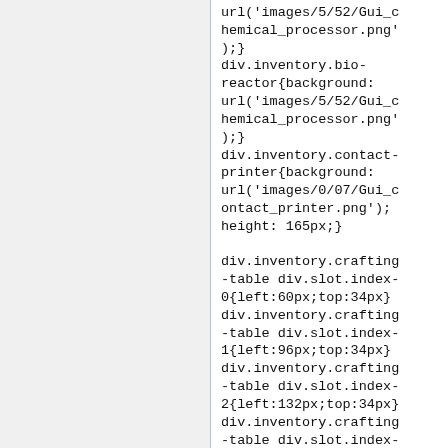url('images/5/52/Gui_chemical_processor.png');}
div.inventory.bio-reactor{background: url('images/5/52/Gui_chemical_processor.png');}
div.inventory.contact-printer{background: url('images/0/07/Gui_contact_printer.png'); height: 165px;}

div.inventory.crafting-table div.slot.index-0{left:60px;top:34px}
div.inventory.crafting-table div.slot.index-1{left:96px;top:34px}
div.inventory.crafting-table div.slot.index-2{left:132px;top:34px}
div.inventory.crafting-table div.slot.index-